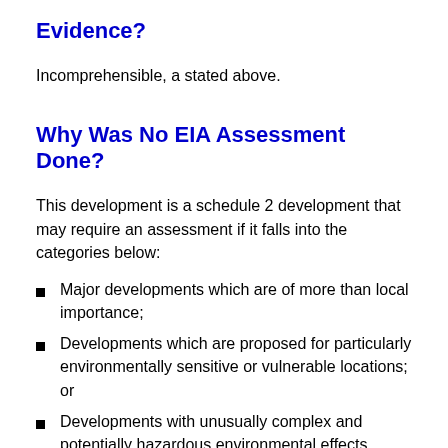Evidence?
Incomprehensible, a stated above.
Why Was No EIA Assessment Done?
This development is a schedule 2 development that may require an assessment if it falls into the categories below:
Major developments which are of more than local importance;
Developments which are proposed for particularly environmentally sensitive or vulnerable locations; or
Developments with unusually complex and potentially hazardous environmental effects